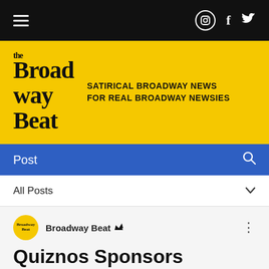[Figure (screenshot): Mobile website navigation bar with hamburger menu on left and Instagram, Facebook, Twitter icons on right, black background]
[Figure (logo): The Broadway Beat logo on yellow background with tagline: SATIRICAL BROADWAY NEWS FOR REAL BROADWAY NEWSIES]
Post
All Posts
Broadway Beat
Quiznos Sponsors “King Kong” Puppet In Final Effort to Save Musical